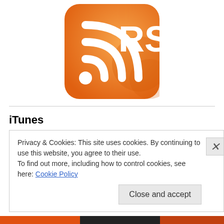[Figure (logo): Orange RSS feed logo icon with white WiFi/RSS signal waves and the text RSS in white on an orange rounded rectangle background]
iTunes
[Figure (logo): Apple iTunes logo: black Apple logo (with leaf) followed by the word iTunes in large black sans-serif font]
Privacy & Cookies: This site uses cookies. By continuing to use this website, you agree to their use.
To find out more, including how to control cookies, see here: Cookie Policy
Close and accept